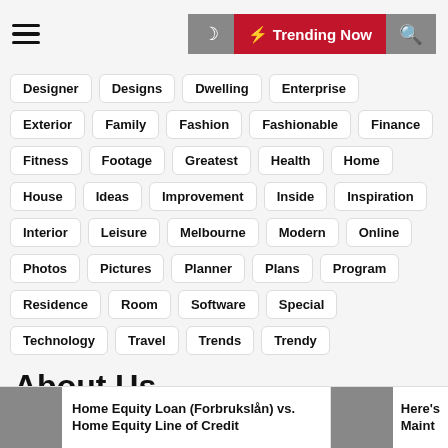Navigation bar with hamburger menu, dark mode toggle, Trending Now button, and search icon
Designer
Designs
Dwelling
Enterprise
Exterior
Family
Fashion
Fashionable
Finance
Fitness
Footage
Greatest
Health
Home
House
Ideas
Improvement
Inside
Inspiration
Interior
Leisure
Melbourne
Modern
Online
Photos
Pictures
Planner
Plans
Program
Residence
Room
Software
Special
Technology
Travel
Trends
Trendy
About Us
Home Equity Loan (Forbrukslån) vs. Home Equity Line of Credit
Here's Maint